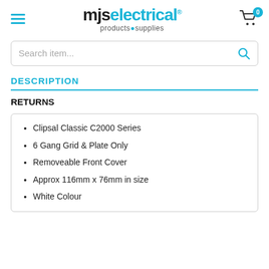mjs electrical products & supplies
Search item...
DESCRIPTION
RETURNS
Clipsal Classic C2000 Series
6 Gang Grid & Plate Only
Removeable Front Cover
Approx 116mm x 76mm in size
White Colour